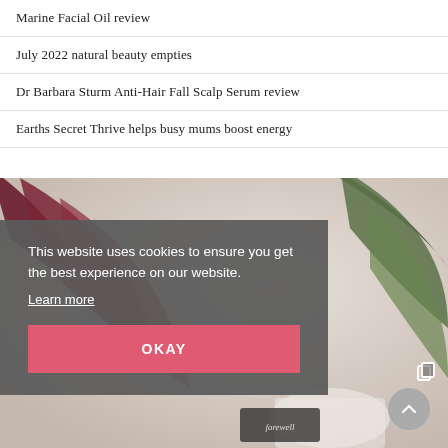Marine Facial Oil review
July 2022 natural beauty empties
Dr Barbara Sturm Anti-Hair Fall Scalp Serum review
Earths Secret Thrive helps busy mums boost energy
[Figure (photo): Blurred photo of dark red and green tropical plant leaves against a light background, with a partial view of a jar labeled 'farewell' at the bottom.]
This website uses cookies to ensure you get the best experience on our website.
Learn more
OKAY